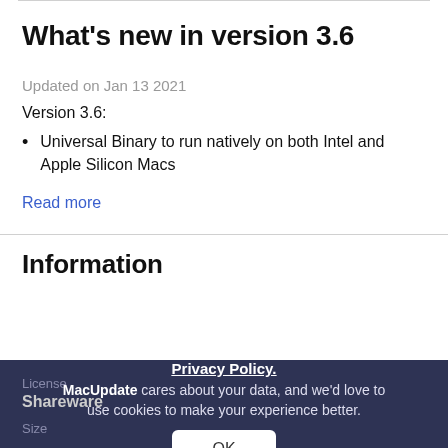What's new in version 3.6
Updated on Jan 13 2021
Version 3.6:
Universal Binary to run natively on both Intel and Apple Silicon Macs
Read more
Information
License
Shareware
Size
Privacy Policy.
MacUpdate cares about your data, and we'd love to use cookies to make your experience better.
OK